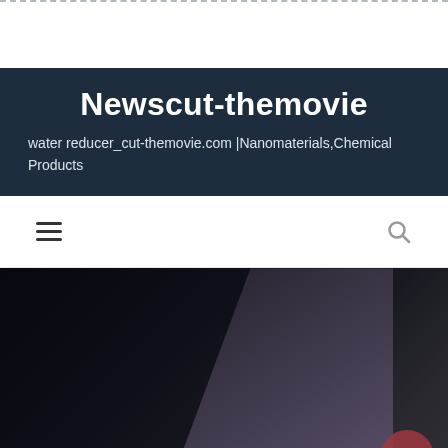Newscut-themovie
water reducer_cut-themovie.com |Nanomaterials,Chemical Products
[Figure (screenshot): Navigation bar with hamburger menu icon on left and search icon on right]
[Figure (photo): Dark hero image with diagonal dark surface element and a red circular scroll-to-top button in the bottom right corner]